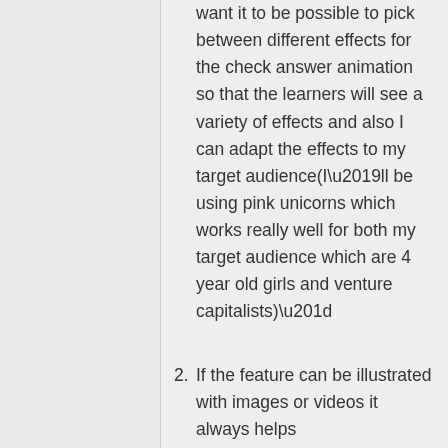want it to be possible to pick between different effects for the check answer animation so that the learners will see a variety of effects and also I can adapt the effects to my target audience(I’ll be using pink unicorns which works really well for both my target audience which are 4 year old girls and venture capitalists)”
If the feature can be illustrated with images or videos it always helps